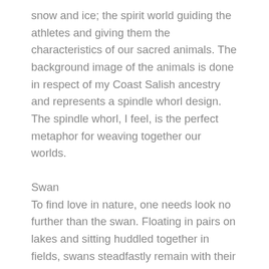snow and ice; the spirit world guiding the athletes and giving them the characteristics of our sacred animals. The background image of the animals is done in respect of my Coast Salish ancestry and represents a spindle whorl design. The spindle whorl, I feel, is the perfect metaphor for weaving together our worlds.
Swan
To find love in nature, one needs look no further than the swan. Floating in pairs on lakes and sitting huddled together in fields, swans steadfastly remain with their mates for life. Their movements seem so graceful on the water that we are often